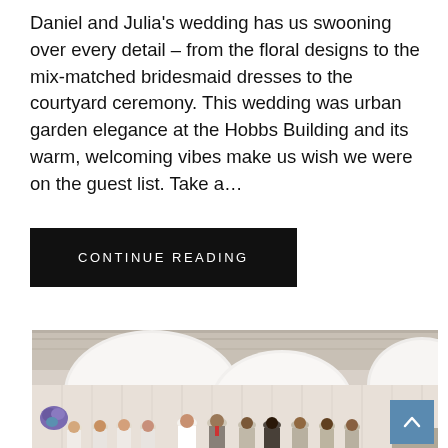Daniel and Julia's wedding has us swooning over every detail – from the floral designs to the mix-matched bridesmaid dresses to the courtyard ceremony. This wedding was urban garden elegance at the Hobbs Building and its warm, welcoming vibes make us wish we were on the guest list. Take a…
CONTINUE READING
[Figure (photo): Wedding ceremony photo showing the bride and groom facing each other at the altar, surrounded by bridesmaids in white dresses and groomsmen in grey suits. Large round white pendant lights hang from the ceiling of a modern industrial venue.]